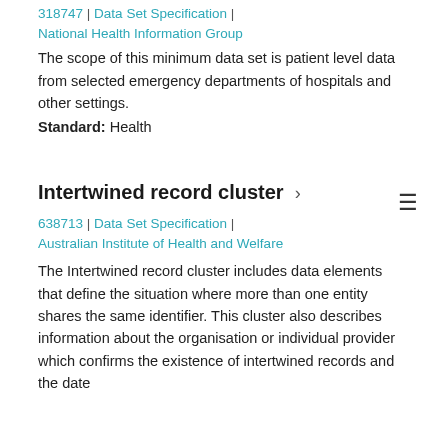318747 | Data Set Specification | National Health Information Group
The scope of this minimum data set is patient level data from selected emergency departments of hospitals and other settings.
Standard: Health
Intertwined record cluster ›
638713 | Data Set Specification | Australian Institute of Health and Welfare
The Intertwined record cluster includes data elements that define the situation where more than one entity shares the same identifier. This cluster also describes information about the organisation or individual provider which confirms the existence of intertwined records and the date